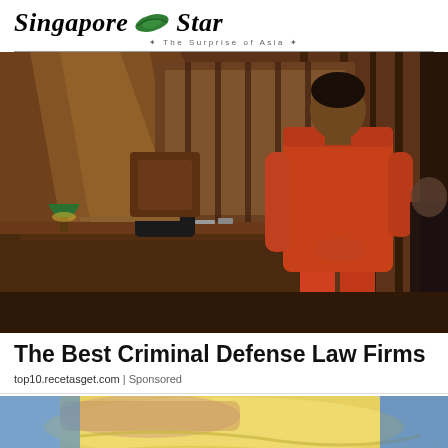Singapore Star · The Surprise of Asia
[Figure (photo): A person in an orange prison jumpsuit standing with back to camera in a courtroom, a judge seated at the bench in the background with wood paneled walls and dramatic lighting]
The Best Criminal Defense Law Firms
top10.recetasget.com | Sponsored
[Figure (photo): Close-up of a person lying down, partially visible, with a yellow fabric or blanket, suggesting a medical or personal care scene]